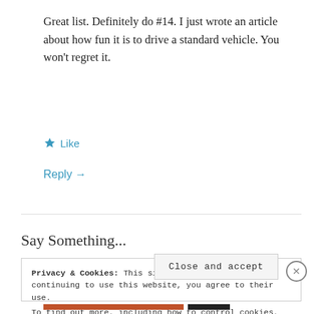Great list. Definitely do #14. I just wrote an article about how fun it is to drive a standard vehicle. You won't regret it.
★ Like
Reply →
Say Something...
Privacy & Cookies: This site uses cookies. By continuing to use this website, you agree to their use.
To find out more, including how to control cookies, see here: Cookie Policy
Close and accept